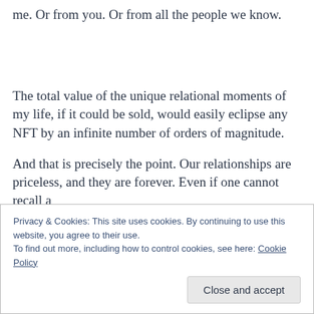me. Or from you. Or from all the people we know.
The total value of the unique relational moments of my life, if it could be sold, would easily eclipse any NFT by an infinite number of orders of magnitude.
And that is precisely the point. Our relationships are priceless, and they are forever. Even if one cannot recall a
Privacy & Cookies: This site uses cookies. By continuing to use this website, you agree to their use.
To find out more, including how to control cookies, see here: Cookie Policy
Close and accept